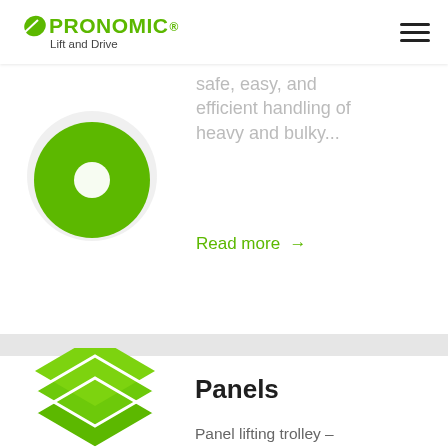PRONOMIC Lift and Drive
safe, easy, and efficient handling of heavy and bulky...
Read more →
Panels
Panel lifting trolley – Simpler and safer handling. A mobile lifting trolley solution